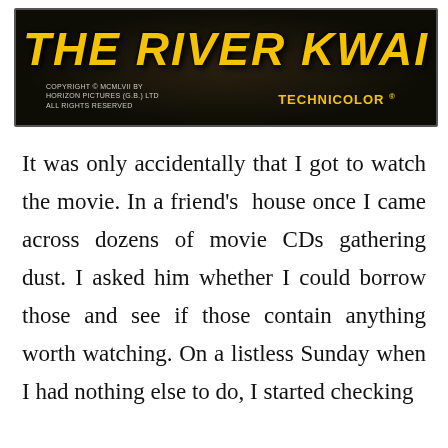[Figure (photo): Movie title card for 'The Bridge on the River Kwai' showing large bold yellow italic text 'THE RIVER KWAI' on a dark background with copyright text on the left reading 'COPYRIGHT © MCMLVII BY HORIZON PICTURES (G.B.) LTD ALL RIGHTS RESERVED' and 'TECHNICOLOR ®' on the right in yellow.]
It was only accidentally that I got to watch the movie. In a friend's house once I came across dozens of movie CDs gathering dust. I asked him whether I could borrow those and see if those contain anything worth watching. On a listless Sunday when I had nothing else to do, I started checking